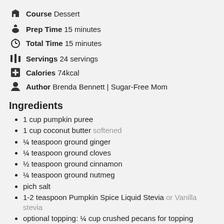Course  Dessert
Prep Time  15 minutes
Total Time  15 minutes
Servings  24 servings
Calories  74kcal
Author  Brenda Bennett | Sugar-Free Mom
Ingredients
1 cup pumpkin puree
1 cup coconut butter softened
¼ teaspoon ground ginger
¼ teaspoon ground cloves
½ teaspoon ground cinnamon
¼ teaspoon ground nutmeg
pich salt
1-2 teaspoon Pumpkin Spice Liquid Stevia or Vanilla stevia
optional topping: ¼ cup crushed pecans for topping
Instructions
1. If your coconut butter is too hard, place jar, without cover, in